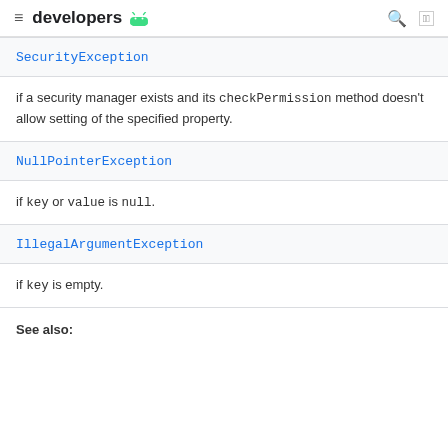≡ developers 🤖 🔍 🌐
SecurityException
if a security manager exists and its checkPermission method doesn't allow setting of the specified property.
NullPointerException
if key or value is null.
IllegalArgumentException
if key is empty.
See also: